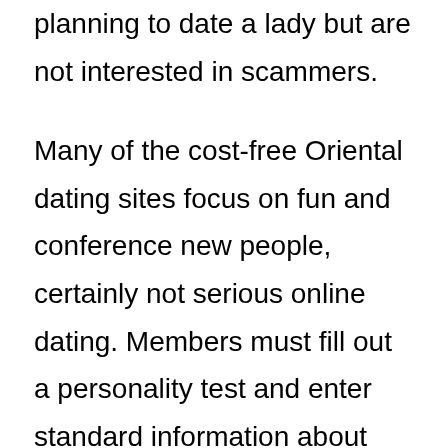planning to date a lady but are not interested in scammers.
Many of the cost-free Oriental dating sites focus on fun and conference new people, certainly not serious online dating. Members must fill out a personality test and enter standard information about themselves. You will be required to state if you are interested in an intimate relationship or simply looking for entertaining. If you’re searching for a girl exactly who shares the interests, you might like to consider AsianCupid. This site comes with thousands of people and targets on serious